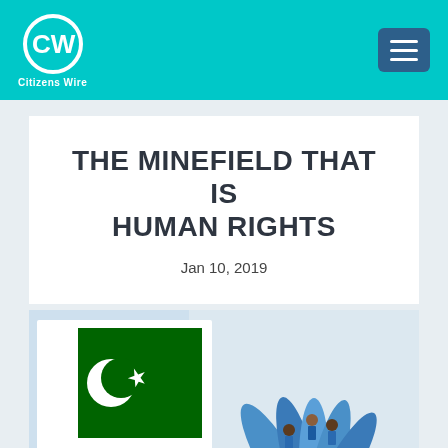[Figure (logo): Citizens Wire logo — CW circular icon with text 'Citizens Wire' below]
THE MINEFIELD THAT IS HUMAN RIGHTS
Jan 10, 2019
[Figure (illustration): Illustration showing Pakistan flag and colorful hands representing human rights]